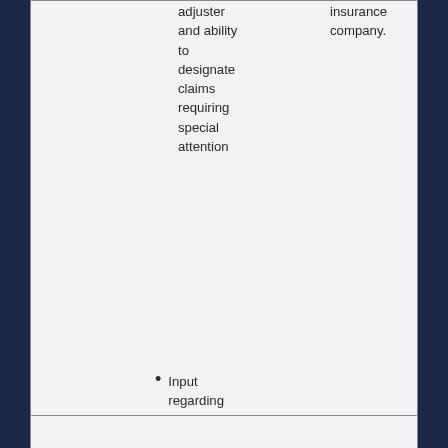adjuster and ability to designate claims requiring special attention
insurance company.
Input regarding choice of legal counsel
* Subject to final approval by the program insurer.